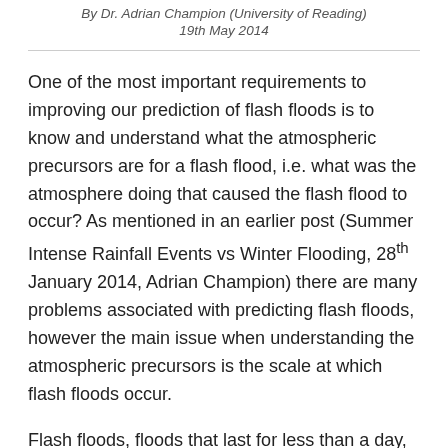By Dr. Adrian Champion (University of Reading)
19th May 2014
One of the most important requirements to improving our prediction of flash floods is to know and understand what the atmospheric precursors are for a flash flood, i.e. what was the atmosphere doing that caused the flash flood to occur? As mentioned in an earlier post (Summer Intense Rainfall Events vs Winter Flooding, 28th January 2014, Adrian Champion) there are many problems associated with predicting flash floods, however the main issue when understanding the atmospheric precursors is the scale at which flash floods occur.
Flash floods, floods that last for less than a day, affect a very small area and are caused by weather systems that are only a few 10s of km in size. This makes them very difficult to predict and observe, with weather forecast models only recently able to predict systems of this size, and ground